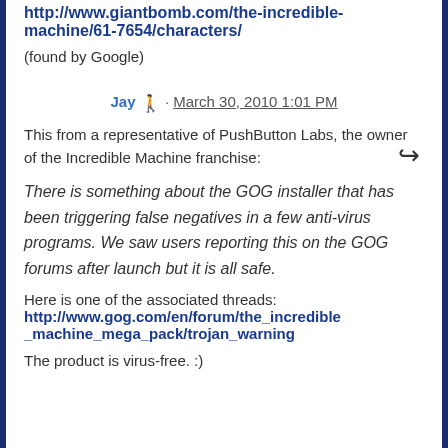http://www.giantbomb.com/the-incredible-machine/61-7654/characters/
(found by Google)
Jay · March 30, 2010 1:01 PM
This from a representative of PushButton Labs, the owner of the Incredible Machine franchise:
There is something about the GOG installer that has been triggering false negatives in a few anti-virus programs. We saw users reporting this on the GOG forums after launch but it is all safe.
Here is one of the associated threads: http://www.gog.com/en/forum/the_incredible_machine_mega_pack/trojan_warning
The product is virus-free. :)